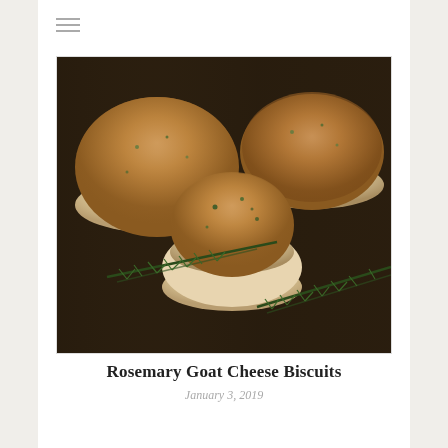≡
[Figure (photo): Rosemary goat cheese biscuits stacked on a dark wooden surface with fresh rosemary sprigs scattered around them. The biscuits are golden-brown on top with visible herb flecks.]
Rosemary Goat Cheese Biscuits
January 3, 2019